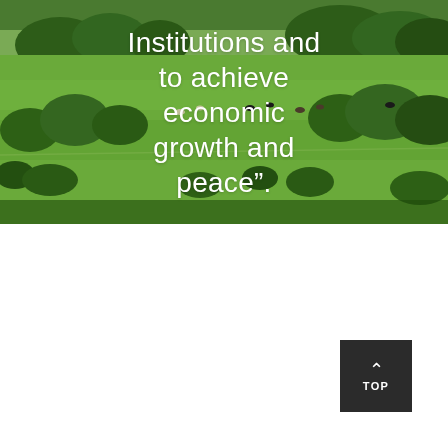[Figure (photo): Aerial or landscape photograph of green rolling pasture with cattle grazing, scattered trees and shrubs, under a bright sky. Large italic white text overlaid reads: Institutions and to achieve economic growth and peace".]
Institutions and to achieve economic growth and peace".